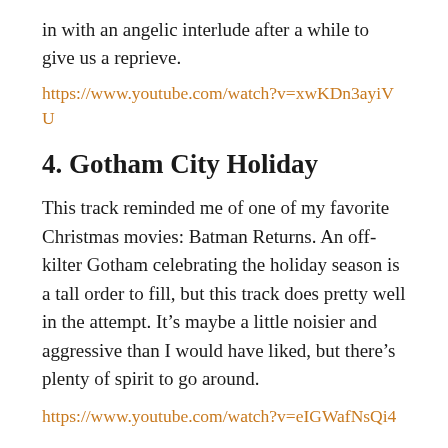in with an angelic interlude after a while to give us a reprieve.
https://www.youtube.com/watch?v=xwKDn3ayiVU
4. Gotham City Holiday
This track reminded me of one of my favorite Christmas movies: Batman Returns. An off-kilter Gotham celebrating the holiday season is a tall order to fill, but this track does pretty well in the attempt. It’s maybe a little noisier and aggressive than I would have liked, but there’s plenty of spirit to go around.
https://www.youtube.com/watch?v=eIGWafNsQi4
5. Green Lantern Corps
I’m not the biggest Green Lantern Corps fan, but even